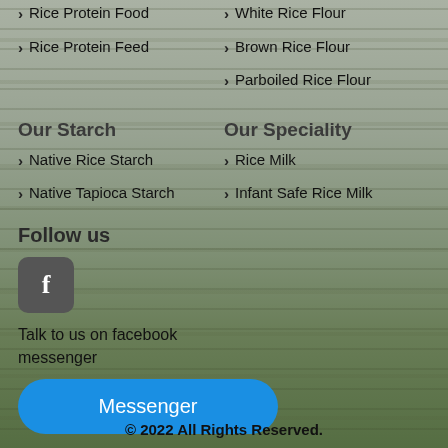Rice Protein Food
Rice Protein Feed
White Rice Flour
Brown Rice Flour
Parboiled Rice Flour
Our Starch
Our Speciality
Native Rice Starch
Native Tapioca Starch
Rice Milk
Infant Safe Rice Milk
Follow us
[Figure (logo): Facebook messenger icon — rounded square grey button with white letter f]
Talk to us on facebook messenger
Messenger
© 2022 All Rights Reserved.